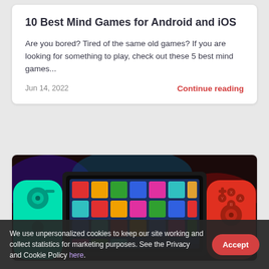10 Best Mind Games for Android and iOS
Are you bored? Tired of the same old games? If you are looking for something to play, check out these 5 best mind games...
Jun 14, 2022
Continue reading
[Figure (photo): Close-up photo of a Nintendo Switch handheld gaming console showing colorful game tiles on screen, with a cyan left Joy-Con and red right Joy-Con controller.]
We use unpersonalized cookies to keep our site working and collect statistics for marketing purposes. See the Privacy and Cookie Policy here.